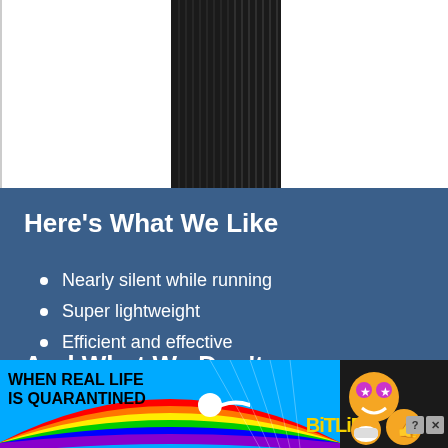[Figure (photo): Dark tower air purifier device shown from above against white background]
Here's What We Like
Nearly silent while running
Super lightweight
Efficient and effective
Great for wildfires and allergens
And What We Don't
[Figure (infographic): BitLife mobile game advertisement banner with rainbow background, text 'WHEN REAL LIFE IS QUARANTINED', sperm logo, BitLife logo, and emoji characters]